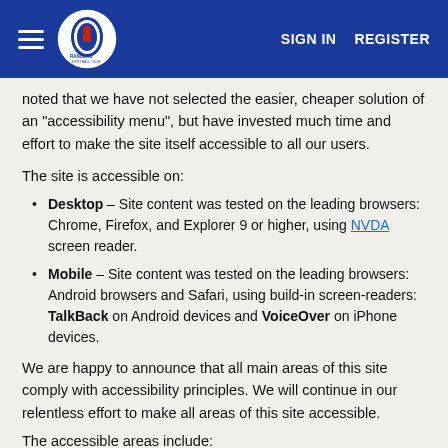Rangers FC — SIGN IN | REGISTER
noted that we have not selected the easier, cheaper solution of an "accessibility menu", but have invested much time and effort to make the site itself accessible to all our users.
The site is accessible on:
Desktop – Site content was tested on the leading browsers: Chrome, Firefox, and Explorer 9 or higher, using NVDA screen reader.
Mobile – Site content was tested on the leading browsers: Android browsers and Safari, using build-in screen-readers: TalkBack on Android devices and VoiceOver on iPhone devices.
We are happy to announce that all main areas of this site comply with accessibility principles. We will continue in our relentless effort to make all areas of this site accessible.
The accessible areas include:
Navigation menus
Search events by category, date or name
The entire process of ticket purchase, including seat selection from a seating plan